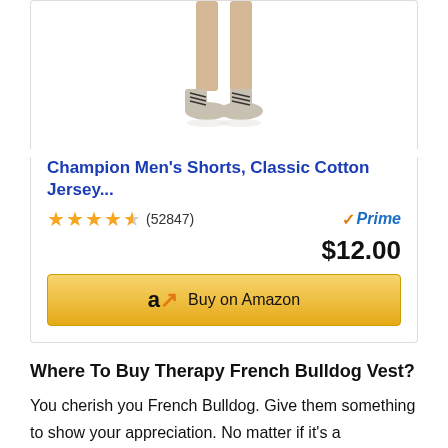[Figure (photo): Partial view of a person's legs wearing shorts and grey sneakers with black laces, shown from waist down on white background]
Champion Men's Shorts, Classic Cotton Jersey...
★★★★½ (52847) Prime $12.00
[Figure (other): Buy on Amazon button with Amazon logo]
Where To Buy Therapy French Bulldog Vest?
You cherish you French Bulldog. Give them something to show your appreciation. No matter if it's a celebration, birthday, or Christmas, you're aware that pets-themed gifts can never go wrong! The greatest thing about giving pets is